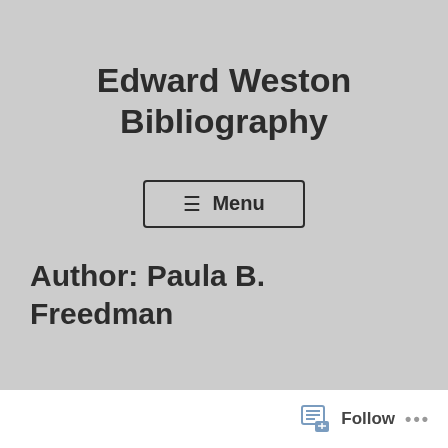Edward Weston Bibliography
[Figure (other): Menu button with hamburger icon and 'Menu' text, bordered rectangle button]
Author: Paula B. Freedman
Follow ...